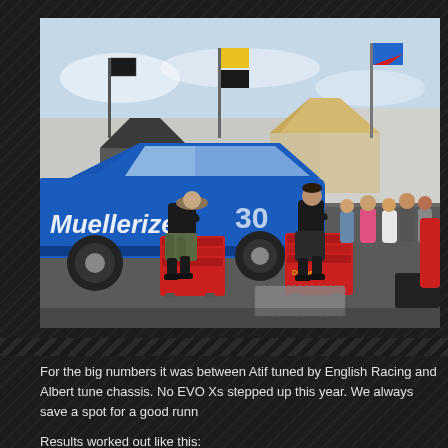[Figure (photo): Outdoor motorsport event showing a blue race car (with 'Muellerize' branding) being worked on in a parking lot. Two mechanics lean over red rolling tool chests/carts in front of the car. Several people stand watching in the background. Tents and banners are visible. The scene appears to be a car show or racing event dyno competition.]
For the big numbers it was between Atif tuned by English Racing and Albert tune chassis. No EVO Xs stepped up this year. We always save a spot for a good runn
Results worked out like this: